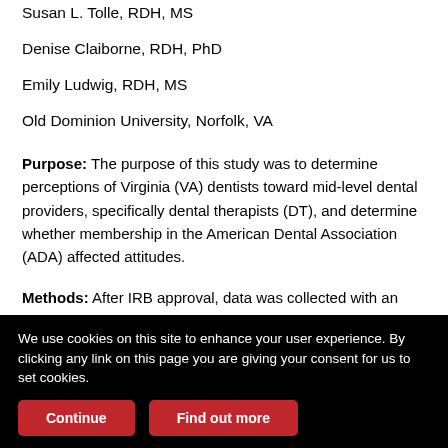Susan L. Tolle, RDH, MS
Denise Claiborne, RDH, PhD
Emily Ludwig, RDH, MS
Old Dominion University, Norfolk, VA
Purpose: The purpose of this study was to determine perceptions of Virginia (VA) dentists toward mid-level dental providers, specifically dental therapists (DT), and determine whether membership in the American Dental Association (ADA) affected attitudes.
Methods: After IRB approval, data was collected with an online survey sent to 1,208 VA dentists. Participants responded to 11 Likert
We use cookies on this site to enhance your user experience. By clicking any link on this page you are giving your consent for us to set cookies.